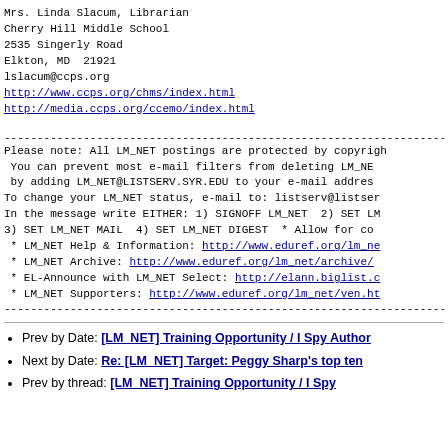Mrs. Linda Slacum, Librarian
Cherry Hill Middle School
2535 Singerly Road
Elkton, MD  21921
lslacum@ccps.org
http://www.ccps.org/chms/index.html
http://media.ccps.org/ccemo/index.html
Please note: All LM_NET postings are protected by copyright. You can prevent most e-mail filters from deleting LM_NET by adding LM_NET@LISTSERV.SYR.EDU to your e-mail address. To change your LM_NET status, e-mail to: listserv@listserv.syr.edu In the message write EITHER: 1) SIGNOFF LM_NET  2) SET LM_NET 3) SET LM_NET MAIL  4) SET LM_NET DIGEST  * Allow for confirmation. * LM_NET Help & Information: http://www.eduref.org/lm_net/ * LM_NET Archive: http://www.eduref.org/lm_net/archive/ * EL-Announce with LM_NET Select: http://elann.biglist.com * LM_NET Supporters: http://www.eduref.org/lm_net/ven.html
Prev by Date: [LM_NET] Training Opportunity / I Spy Author
Next by Date: Re: [LM_NET] Target: Peggy Sharp's top ten
Prev by thread: [LM_NET] Training Opportunity / I Spy